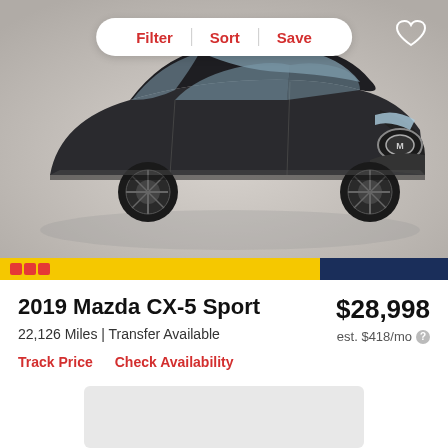[Figure (photo): Dark grey/black 2019 Mazda CX-5 Sport SUV facing right, shown in a studio/dealership setting with light grey background. Filter, Sort, Save pill button overlay at top center. Heart/save icon at top right.]
2019 Mazda CX-5 Sport
$28,998
22,126 Miles | Transfer Available
est. $418/mo
Track Price   Check Availability